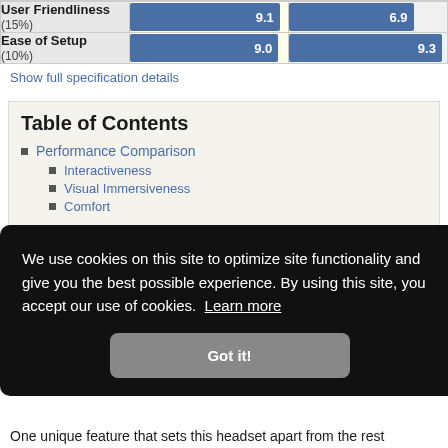|  | Product A | Product B |
| --- | --- | --- |
| User Friendliness (15%) | 9.1 | 6.9 |
| Ease of Setup (10%) | 9.0 | 9.3 |
Show full specification details
Table of Contents
Performance Comparison
Interactiveness
Visual Immersiveness
Comfort
We use cookies on this site to optimize site functionality and give you the best possible experience. By using this site, you accept our use of cookies. Learn more
Got it!
One unique feature that sets this headset apart from the rest